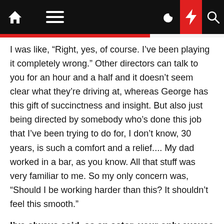[Navigation bar with home icon, menu icon, moon icon, lightning bolt icon, search icon]
I was like, “Right, yes, of course. I’ve been playing it completely wrong.” Other directors can talk to you for an hour and a half and it doesn’t seem clear what they’re driving at, whereas George has this gift of succinctness and insight. But also just being directed by somebody who’s done this job that I’ve been trying to do for, I don’t know, 30 years, is such a comfort and a relief.... My dad worked in a bar, as you know. All that stuff was very familiar to me. So my only concern was, “Should I be working harder than this? It shouldn’t feel this smooth.”
I’ve always said, as an actor, your only excuse for not being good is “I didn’t know what movie I was in.”
It’s interesting, because that was the very first thing